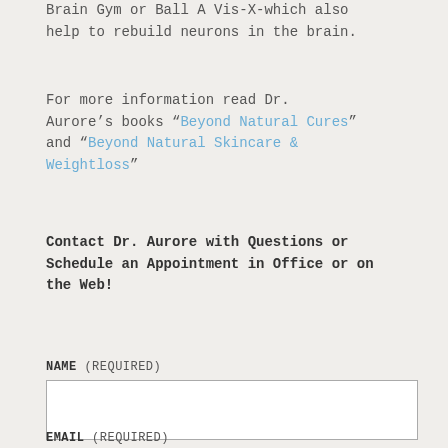Brain Gym or Ball A Vis-X-which also help to rebuild neurons in the brain.
For more information read Dr. Aurore’s books “Beyond Natural Cures” and “Beyond Natural Skincare & Weightloss”
Contact Dr. Aurore with Questions or Schedule an Appointment in Office or on the Web!
NAME (REQUIRED)
EMAIL (REQUIRED)